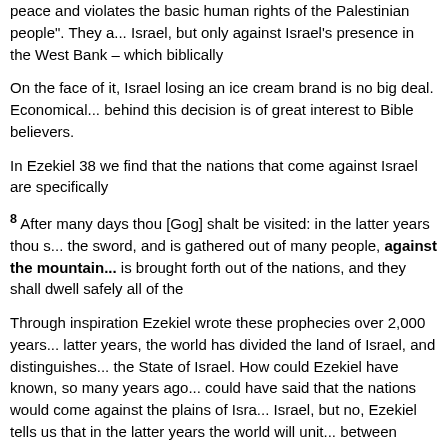peace and violates the basic human rights of the Palestinian people". They a... Israel, but only against Israel's presence in the West Bank – which biblically
On the face of it, Israel losing an ice cream brand is no big deal. Economically... behind this decision is of great interest to Bible believers.
In Ezekiel 38 we find that the nations that come against Israel are specifically
8 After many days thou [Gog] shalt be visited: in the latter years thou s... the sword, and is gathered out of many people, against the mountains... is brought forth out of the nations, and they shall dwell safely all of the
Through inspiration Ezekiel wrote these prophecies over 2,000 years... latter years, the world has divided the land of Israel, and distinguishes... the State of Israel. How could Ezekiel have known, so many years ago... could have said that the nations would come against the plains of Isra... Israel, but no, Ezekiel tells us that in the latter years the world will unit... between "Israel proper" and the West Bank is one of the few borders... on a map, it only came into existence in 1948 after the Israeli War of I... 2,000 years before.
And why is it that Ben and Jerry's are targeting this area of Israel? We... they believe "Israel violates the basic human rights of the Palestinian peopl